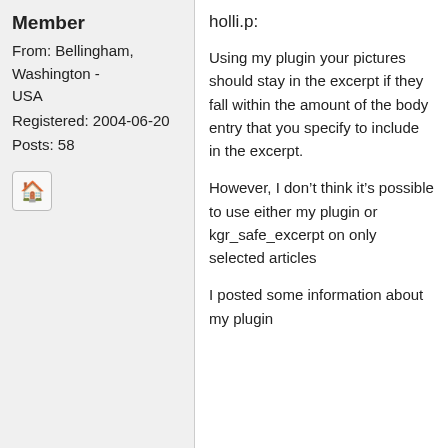Member
From: Bellingham, Washington - USA
Registered: 2004-06-20
Posts: 58
[Figure (other): Home icon button]
holli.p:
Using my plugin your pictures should stay in the excerpt if they fall within the amount of the body entry that you specify to include in the excerpt.
However, I don’t think it’s possible to use either my plugin or kgr_safe_excerpt on only selected articles
I posted some information about my plugin